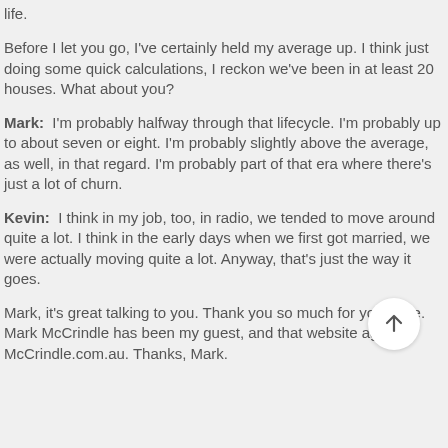life.
Before I let you go, I've certainly held my average up. I think just doing some quick calculations, I reckon we've been in at least 20 houses. What about you?
Mark: I'm probably halfway through that lifecycle. I'm probably up to about seven or eight. I'm probably slightly above the average, as well, in that regard. I'm probably part of that era where there's just a lot of churn.
Kevin: I think in my job, too, in radio, we tended to move around quite a lot. I think in the early days when we first got married, we were actually moving quite a lot. Anyway, that's just the way it goes.
Mark, it's great talking to you. Thank you so much for your time. Mark McCrindle has been my guest, and that website again is McCrindle.com.au. Thanks, Mark.